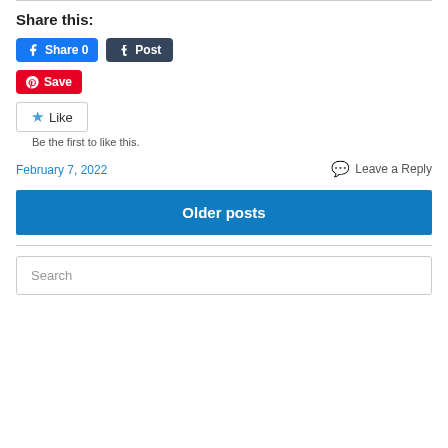Share this:
[Figure (screenshot): Social share buttons: Facebook Share 0, Tumblr Post, Pinterest Save]
[Figure (screenshot): WordPress Like button widget with text 'Be the first to like this.']
February 7, 2022
Leave a Reply
Older posts
Search